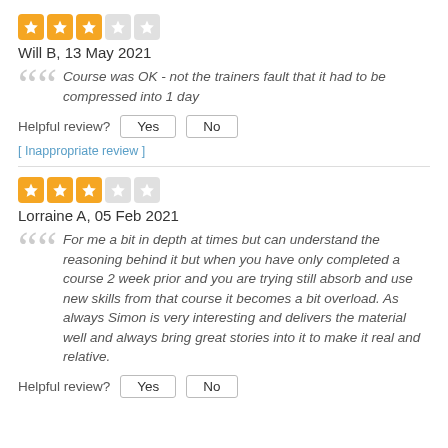[Figure (other): 3 filled stars and 2 empty stars rating (3 out of 5)]
Will B, 13 May 2021
Course was OK - not the trainers fault that it had to be compressed into 1 day
Helpful review?
[ Inappropriate review ]
[Figure (other): 3 filled stars and 2 empty stars rating (3 out of 5)]
Lorraine A, 05 Feb 2021
For me a bit in depth at times but can understand the reasoning behind it but when you have only completed a course 2 week prior and you are trying still absorb and use new skills from that course it becomes a bit overload. As always Simon is very interesting and delivers the material well and always bring great stories into it to make it real and relative.
Helpful review?